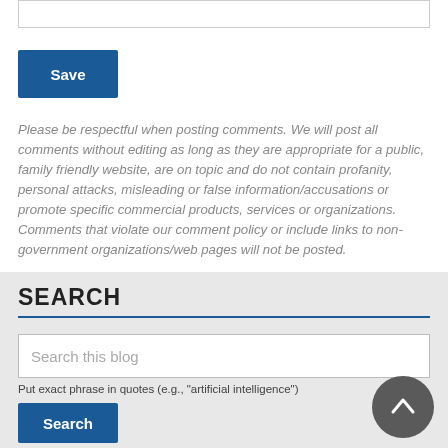[Figure (other): Top input text box (comment entry form field)]
Save
Please be respectful when posting comments. We will post all comments without editing as long as they are appropriate for a public, family friendly website, are on topic and do not contain profanity, personal attacks, misleading or false information/accusations or promote specific commercial products, services or organizations. Comments that violate our comment policy or include links to non-government organizations/web pages will not be posted.
SEARCH
Search this blog
Put exact phrase in quotes (e.g., "artificial intelligence")
Search